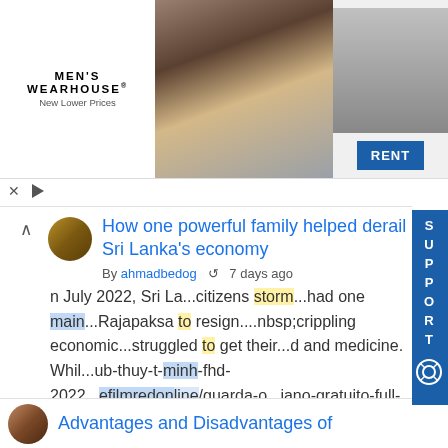[Figure (screenshot): Men's Wearhouse advertisement banner with couple in formalwear and a man in suit with RENT button]
How one powerful family helped derail Sri Lanka's economy
By ahmadbedog  7 days ago
n July 2022, Sri La...citizens storm...had one main...Rajapaksa to resign....nbsp;crippling economic...struggled to get their...d and medicine. Whil...ub-thuy-t-minh-fhd-2022...efilmredonline/guarda-o...iano-gratuito-full-hd...uit-en-hd-/topic...-red-streaming-...ilme-completo-dubla...://paste.akingi.c...
Advantages and Disadvantages of